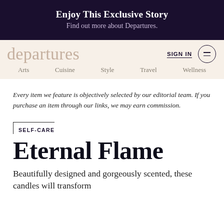Enjoy This Exclusive Story
Find out more about Departures.
departures
SIGN IN
Arts  Cuisine  Style  Travel  Wellness
Every item we feature is objectively selected by our editorial team. If you purchase an item through our links, we may earn commission.
SELF-CARE
Eternal Flame
Beautifully designed and gorgeously scented, these candles will transform